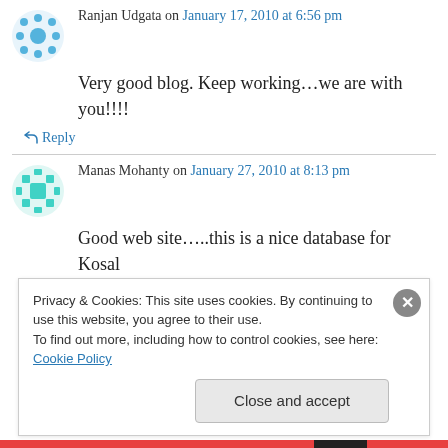Ranjan Udgata on January 17, 2010 at 6:56 pm
Very good blog. Keep working…we are with you!!!!
↳ Reply
Manas Mohanty on January 27, 2010 at 8:13 pm
Good web site…..this is a nice database for Kosal
Privacy & Cookies: This site uses cookies. By continuing to use this website, you agree to their use.
To find out more, including how to control cookies, see here: Cookie Policy
Close and accept